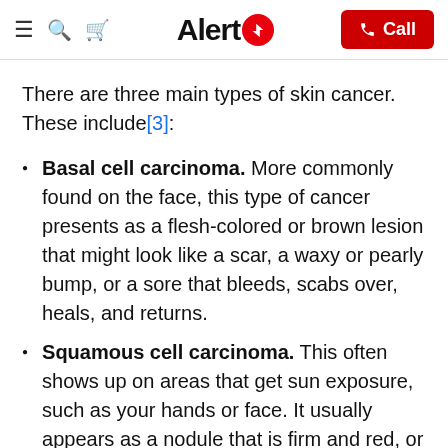Alert1 — Call
There are three main types of skin cancer. These include[3]:
Basal cell carcinoma. More commonly found on the face, this type of cancer presents as a flesh-colored or brown lesion that might look like a scar, a waxy or pearly bump, or a sore that bleeds, scabs over, heals, and returns.
Squamous cell carcinoma. This often shows up on areas that get sun exposure, such as your hands or face. It usually appears as a nodule that is firm and red, or a flat lesion